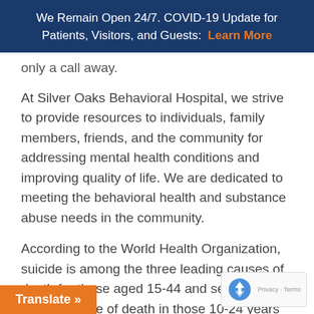We Remain Open 24/7. COVID-19 Update for Patients, Visitors, and Guests: Learn More
only a call away.
At Silver Oaks Behavioral Hospital, we strive to provide resources to individuals, family members, friends, and the community for addressing mental health conditions and improving quality of life. We are dedicated to meeting the behavioral health and substance abuse needs in the community.
According to the World Health Organization, suicide is among the three leading causes of death for those aged 15-44 and second-leading cause of death in those 10-24 years of age. With nearly 1.4 million Americans attempting suicide annually, this accounts on average for nearly 132 Americans each day.